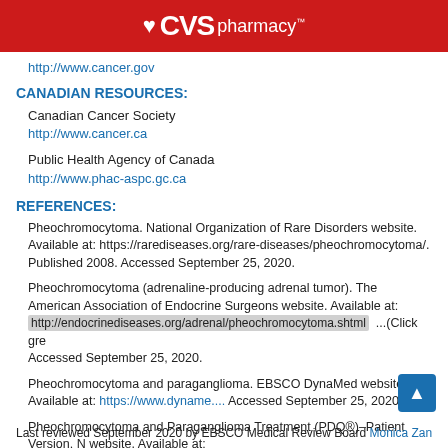CVS pharmacy™
http://www.cancer.gov
CANADIAN RESOURCES:
Canadian Cancer Society
http://www.cancer.ca
Public Health Agency of Canada
http://www.phac-aspc.gc.ca
REFERENCES:
Pheochromocytoma. National Organization of Rare Disorders website. Available at: https://rarediseases.org/rare-diseases/pheochromocytoma/. Published 2008. Accessed September 25, 2020.
Pheochromocytoma (adrenaline-producing adrenal tumor). The American Association of Endocrine Surgeons website. Available at: http://endocrinediseases.org/adrenal/pheochromocytoma.shtml ...(Click grey area to expand). Accessed September 25, 2020.
Pheochromocytoma and paraganglioma. EBSCO DynaMed website. Available at: https://www.dyname.... Accessed September 25, 2020.
Pheochromocytoma and Paraganglioma Treatment (PDQ®)–Patient Version. NCI website. Available at: https://www.cancer.gov/types/pheochromocytoma/patient-treatment-pdq. Accessed September 25, 2020.
Last reviewed September 2020 by EBSCO Medical Review Board Monica Zangwill